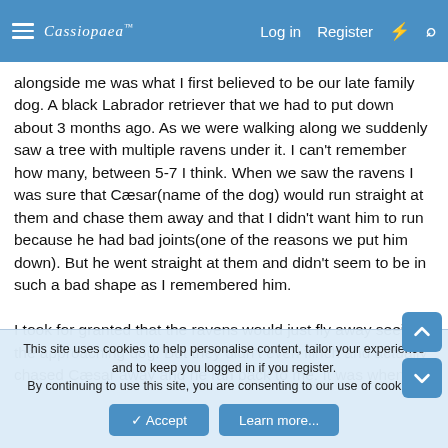Cassiopaea | Log in | Register
alongside me was what I first believed to be our late family dog. A black Labrador retriever that we had to put down about 3 months ago. As we were walking along we suddenly saw a tree with multiple ravens under it. I can't remember how many, between 5-7 I think. When we saw the ravens I was sure that Cæsar(name of the dog) would run straight at them and chase them away and that I didn't want him to run because he had bad joints(one of the reasons we put him down). But he went straight at them and didn't seem to be in such a bad shape as I remembered him.
I took for granted that the ravens would just fly away seeing the approaching dog. But they didn't even flinch and actually chased Cæsar away and he ran back to me. It was when he
This site uses cookies to help personalise content, tailor your experience and to keep you logged in if you register.
By continuing to use this site, you are consenting to our use of cookies.
✓ Accept | Learn more...